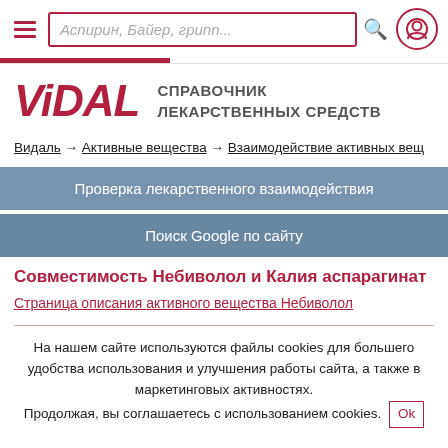[Figure (screenshot): Vidal website header with hamburger menu, search box placeholder 'Аспирин, Байер, грипп...', search icon, and user icon]
[Figure (logo): VIDAL logo in red italic bold font with text СПРАВОЧНИК ЛЕКАРСТВЕННЫХ СРЕДСТВ]
Видаль → Активные вещества → Взаимодействие активных вещ
Проверка лекарственного взаимодействия
Поиск Google по сайту
Совместимость Небиволол и Калия аспарагинат
Страница описания активного вещества Небиволол
На нашем сайте используются файлы cookies для большего удобства использования и улучшения работы сайта, а также в маркетинговых активностях. Продолжая, вы соглашаетесь с использованием cookies. Ok